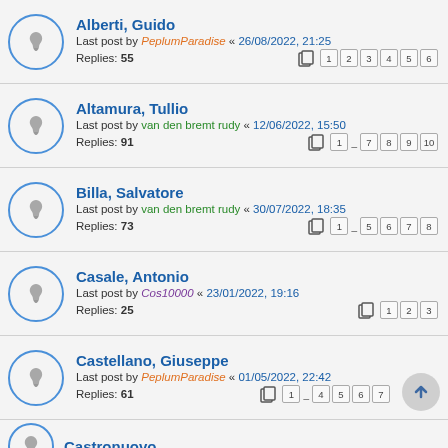Alberti, Guido — Last post by PeplumParadise « 26/08/2022, 21:25 — Replies: 55 — Pages: 1 2 3 4 5 6
Altamura, Tullio — Last post by van den bremt rudy « 12/06/2022, 15:50 — Replies: 91 — Pages: 1 ... 7 8 9 10
Billa, Salvatore — Last post by van den bremt rudy « 30/07/2022, 18:35 — Replies: 73 — Pages: 1 ... 5 6 7 8
Casale, Antonio — Last post by Cos10000 « 23/01/2022, 19:16 — Replies: 25 — Pages: 1 2 3
Castellano, Giuseppe — Last post by PeplumParadise « 01/05/2022, 22:42 — Replies: 61 — Pages: 1 ... 4 5 6 7
Castronuovo, ... (partial)